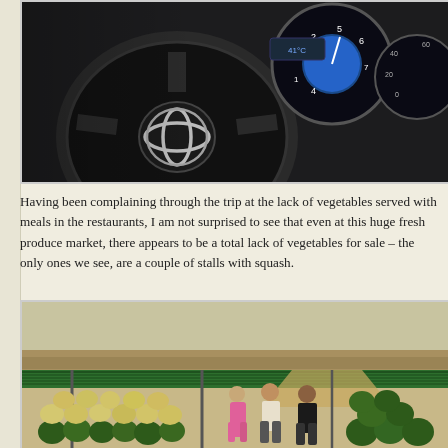[Figure (photo): Close-up interior view of a Toyota vehicle showing the steering wheel with Toyota logo and dashboard gauges including speedometer and other instrument cluster displays.]
Having been complaining through the trip at the lack of vegetables served with meals in the restaurants, I am not surprised to see that even at this huge fresh produce market, there appears to be a total lack of vegetables for sale – the only ones we see, are a couple of stalls with squash.
[Figure (photo): Outdoor roadside market stall with green corrugated metal roof selling melons and watermelons. Several people including a woman in pink and men are visible among large piles of green melons and watermelons. Flat arid landscape visible in the background.]